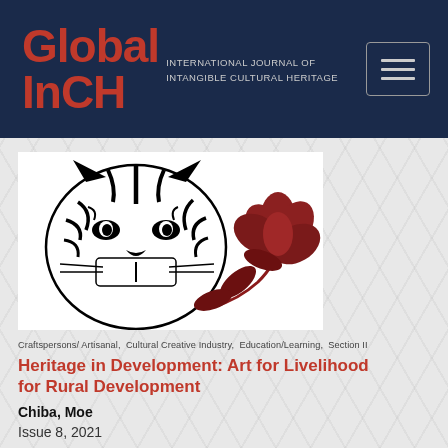Global InCH — International Journal of Intangible Cultural Heritage
[Figure (illustration): Artistic illustration combining a tiger face drawn in black and white graphic style on the left, and a dark red lotus flower on the right, on a white background.]
Craftspersons/ Artisanal, Cultural Creative Industry, Education/Learning, Section II
Heritage in Development: Art for Livelihood for Rural Development
Chiba, Moe
Issue 8, 2021